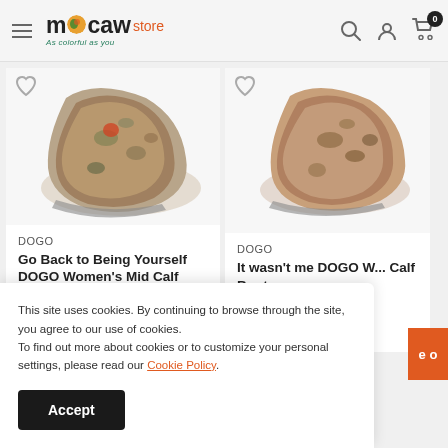Mocaw store — As colorful as you
[Figure (photo): Product photo of Go Back to Being Yourself DOGO Women's Mid Calf Boot — camouflage patterned boot with orange accent]
DOGO
Go Back to Being Yourself DOGO Women's Mid Calf Boot
$163  $185
[Figure (photo): Product photo of It wasn't me DOGO Women's Mid Calf Boot — brown patterned boot]
DOGO
It wasn't me DOGO Women's Mid Calf Boot
$163  $185
This site uses cookies. By continuing to browse through the site, you agree to our use of cookies.
To find out more about cookies or to customize your personal settings, please read our Cookie Policy.
Accept